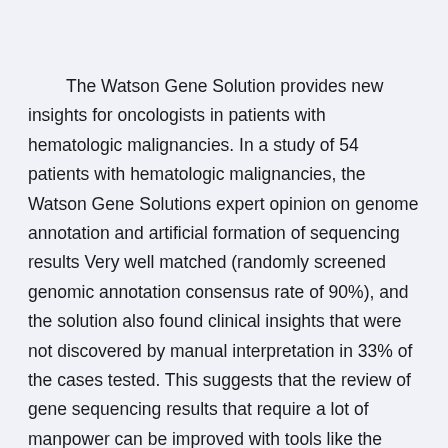The Watson Gene Solution provides new insights for oncologists in patients with hematologic malignancies. In a study of 54 patients with hematologic malignancies, the Watson Gene Solutions expert opinion on genome annotation and artificial formation of sequencing results Very well matched (randomly screened genomic annotation consensus rate of 90%), and the solution also found clinical insights that were not discovered by manual interpretation in 33% of the cases tested. This suggests that the review of gene sequencing results that require a lot of manpower can be improved with tools like the Watson Gene Solutions.